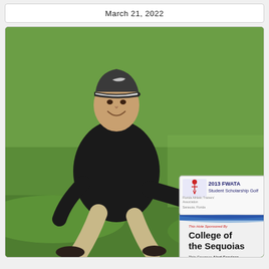March 21, 2022
[Figure (photo): A man wearing a black Nike cap and black fleece jacket crouches on a golf course green, smiling at the camera and holding a sign that reads '2013 FWATA Student Scholarship Golf' at the top and 'College of the Sequoias' prominently in the center, with 'This Sponsor: Alert Services' at the bottom.]